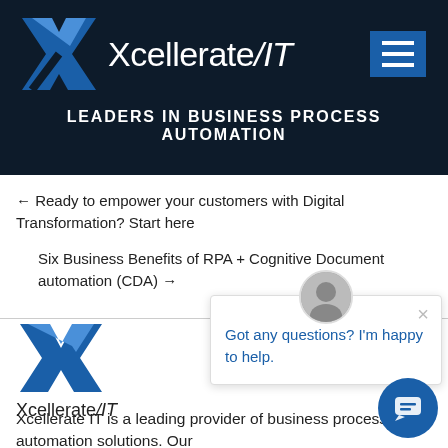XcellerateIT — LEADERS IN BUSINESS PROCESS AUTOMATION
← Ready to empower your customers with Digital Transformation? Start here
Six Business Benefits of RPA + Cognitive Document automation (CDA) →
[Figure (logo): XcellerateIT company logo with blue X graphic and company name]
Xcellerate IT is a leading provider of business process automation solutions. Our
[Figure (screenshot): Chat popup widget with robot avatar saying 'Got any questions? I'm happy to help.' and a chat button]